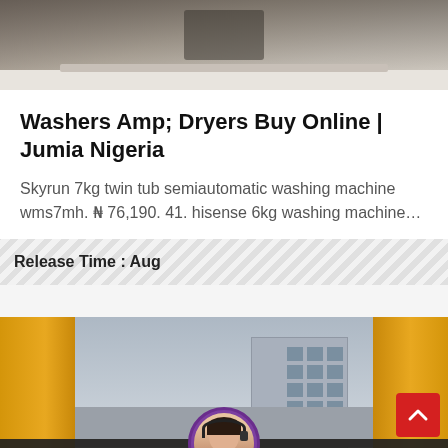[Figure (photo): Top portion of an outdoor/construction scene, cropped]
Washers Amp; Dryers Buy Online | Jumia Nigeria
Skyrun 7kg twin tub semiautomatic washing machine wms7mh. ₦ 76,190. 41. hisense 6kg washing machine…
Release Time : Aug
[Figure (photo): Bottom construction scene with yellow crane/equipment and a building, with chat overlay bar]
Leave Message
Chat Online